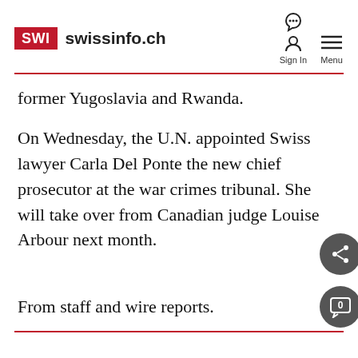SWI swissinfo.ch
former Yugoslavia and Rwanda.
On Wednesday, the U.N. appointed Swiss lawyer Carla Del Ponte the new chief prosecutor at the war crimes tribunal. She will take over from Canadian judge Louise Arbour next month.
From staff and wire reports.